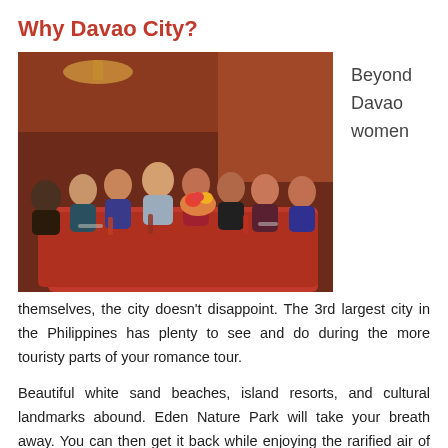Why Davao City?
[Figure (photo): Group of people seated around a table with red tablecloth at a social gathering or dinner event, smiling at the camera.]
Beyond Davao women
themselves, the city doesn't disappoint. The 3rd largest city in the Philippines has plenty to see and do during the more touristy parts of your romance tour.
Beautiful white sand beaches, island resorts, and cultural landmarks abound. Eden Nature Park will take your breath away. You can then get it back while enjoying the rarified air of the tallest peak in the Philippines, Mt. Apo.
The enclosed greens of People's Park are a superb location for a strolling liaison. The Philippine Eagle Center always with watching for an added touch, birds not to be...